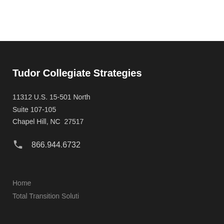Tudor Collegiate Strategies
11312 U.S. 15-501 North
Suite 107-105
Chapel Hill, NC  27517
866.944.6732
Home
Total Transition Soluti…